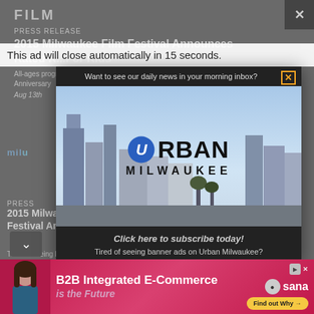FILM
PRESS RELEASE
2015 Milwaukee Film Festival Announces Rated R...For Kids
All-ages programming returns for 20th Anniversary
Aug 13th
PRESS
2015 Milwaukee Film Festival American...
Tired of seeing banner ads on Urban Milwaukee? ...ing and ...
[Figure (screenshot): Ad overlay: countdown bar reading 'This ad will close automatically in 15 seconds.' and Urban Milwaukee subscription modal with city skyline photo and 'Click here to subscribe today!' call to action]
[Figure (infographic): Bottom banner ad: B2B Integrated E-Commerce Is the Future - Sana Commerce with Find out Why button, woman photo on left, pink/magenta gradient background]